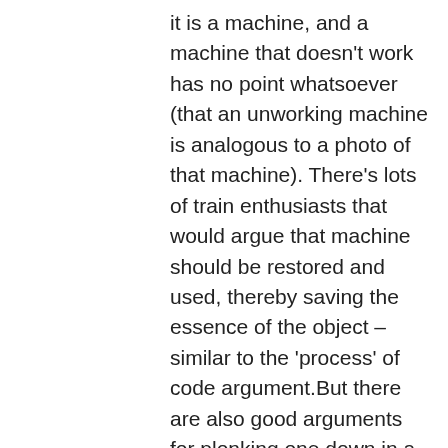it is a machine, and a machine that doesn't work has no point whatsoever (that an unworking machine is analogous to a photo of that machine). There's lots of train enthusiasts that would argue that machine should be restored and used, thereby saving the essence of the object – similar to the 'process' of code argument.But there are also good arguments for plonking one down in a museum. I argue the same things about books – they are working machines that should function – but some require different treatment. People based conservation goes a step further and argues that if no one cares about the object, what's the point (and part of our jobs is to encourage people to care).